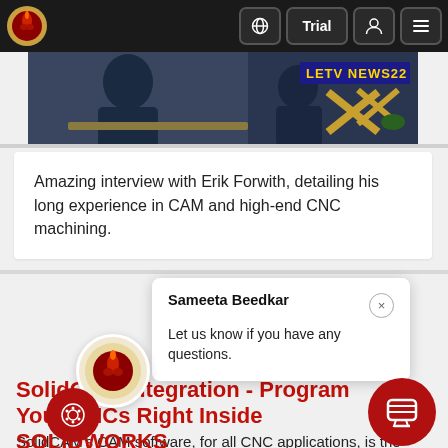[Figure (screenshot): Website navigation bar with SolidCAM logo, globe icon, Trial button, user icon, and hamburger menu on dark background]
[Figure (screenshot): Video thumbnail showing a TV interview scene with LETV NEWS22 badge in the corner]
Amazing interview with Erik Forwith, detailing his long experience in CAM and high-end CNC machining.
Sameeta Beedkar
Let us know if you have any questions.
SolidCAM Integration - Program Your CNCs Right Inside SOLIDWORKS
SolidCAM's CAM software, for all CNC applications, is the